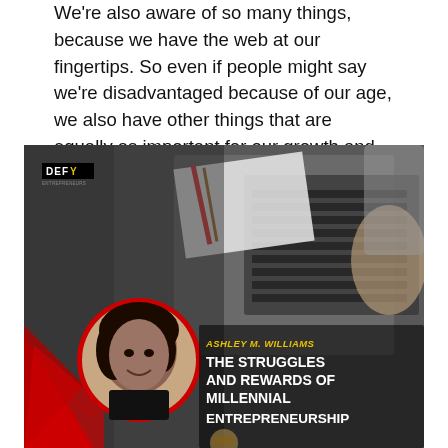We're also aware of so many things, because we have the web at our fingertips. So even if people might say we're disadvantaged because of our age, we also have other things that are equally as important for our growth and our development as entrepreneurs.
[Figure (photo): Book or podcast cover image featuring Ashley M. Williams titled 'The Struggles and Rewards of Millennial Entrepreneurship'. Shows a circular portrait of a woman smiling, red geometric shapes, a DEFY logo, and a background of a person working on a laptop at a desk.]